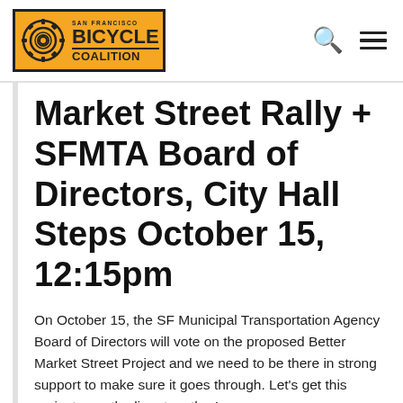San Francisco Bicycle Coalition
Market Street Rally + SFMTA Board of Directors, City Hall Steps October 15, 12:15pm
On October 15, the SF Municipal Transportation Agency Board of Directors will vote on the proposed Better Market Street Project and we need to be there in strong support to make sure it goes through. Let's get this project over the line, together!